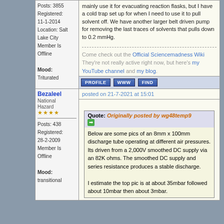mainly use it for evacuating reaction flasks, but I have a cold trap set up for when I need to use it to pull solvent off. We have another larger belt driven pump for removing the last traces of solvents that pulls down to 0.2 mmHg.
Come check out the Official Sciencemadness Wiki They're not really active right now, but here's my YouTube channel and my blog.
Posts: 3855
Registered: 11-1-2014
Location: Salt Lake City
Member Is Offline

Mood: Triturated
Bezaleel
National Hazard
★★★★

Posts: 438
Registered: 28-2-2009
Member Is Offline

Mood: transitional
posted on 21-7-2021 at 15:01
Quote: Originally posted by wg48temp9
Below are some pics of an 8mm x 100mm discharge tube operating at different air pressures. Its driven from a 2,000V smoothed DC supply via an 82K ohms. The smoothed DC supply and series resistance produces a stable discharge.

I estimate the top pic is at about 35mbar followed about 10mbar then about 3mbar.